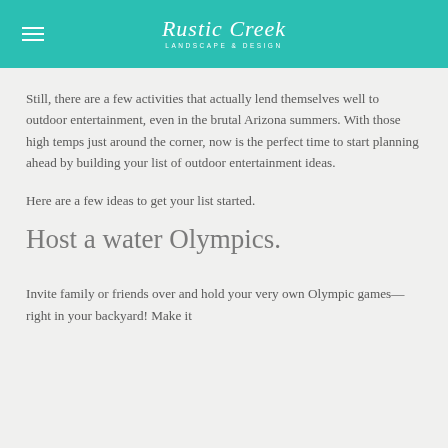Rustic Creek LANDSCAPE & DESIGN
Still, there are a few activities that actually lend themselves well to outdoor entertainment, even in the brutal Arizona summers. With those high temps just around the corner, now is the perfect time to start planning ahead by building your list of outdoor entertainment ideas.
Here are a few ideas to get your list started.
Host a water Olympics.
Invite family or friends over and hold your very own Olympic games—right in your backyard! Make it